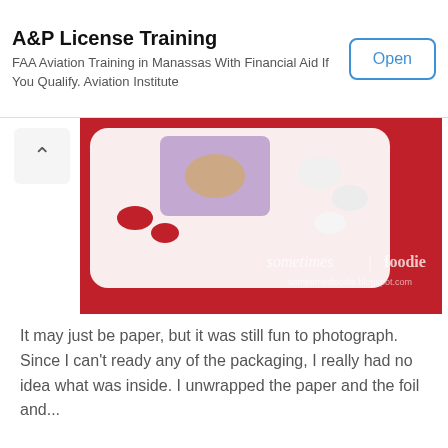[Figure (other): Ad banner: A&P License Training — FAA Aviation Training in Manassas With Financial Aid If You Qualify. Aviation Institute. With an Open button.]
[Figure (photo): Top-down photo of a white rectangular tray/box containing colorful candies/chocolates — red, white pieces visible on a red background, with watermark 'sometimes foodie' and 'sometimesfoodie.blogspot.com']
It may just be paper, but it was still fun to photograph. Since I can't ready any of the packaging, I really had no idea what was inside. I unwrapped the paper and the foil and...
[Figure (photo): Close-up photo of a square piece of dark chocolate unwrapped from white foil, surrounded by red and white candies in the background.]